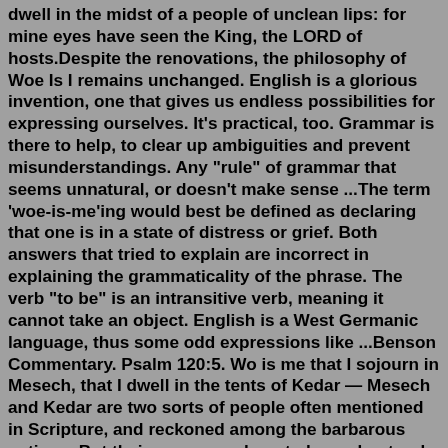dwell in the midst of a people of unclean lips: for mine eyes have seen the King, the LORD of hosts.Despite the renovations, the philosophy of Woe Is I remains unchanged. English is a glorious invention, one that gives us endless possibilities for expressing ourselves. It's practical, too. Grammar is there to help, to clear up ambiguities and prevent misunderstandings. Any "rule" of grammar that seems unnatural, or doesn't make sense ...The term 'woe-is-me'ing would best be defined as declaring that one is in a state of distress or grief. Both answers that tried to explain are incorrect in explaining the grammaticality of the phrase. The verb "to be" is an intransitive verb, meaning it cannot take an object. English is a West Germanic language, thus some odd expressions like ...Benson Commentary. Psalm 120:5. Wo is me that I sojourn in Mesech, that I dwell in the tents of Kedar — Mesech and Kedar are two sorts of people often mentioned in Scripture, and reckoned among the barbarous nations. But their names are here to be understood metaphorically, and so he explains himself in the next